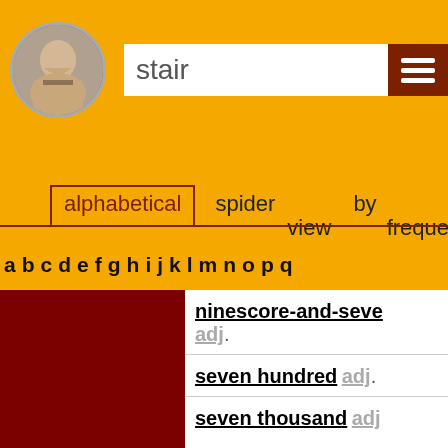stair
alphabetical | spider view | by frequency | by
a b c d e f g h i j k l m n o p q
ninescore-and-seve... adj.
seven hundred adj.
seven thousand adj